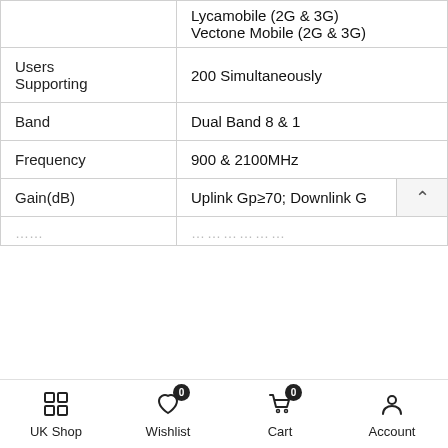| Property | Value |
| --- | --- |
|  | Lycamobile (2G & 3G)
Vectone Mobile (2G & 3G) |
| Users Supporting | 200 Simultaneously |
| Band | Dual Band 8 & 1 |
| Frequency | 900 & 2100MHz |
| Gain(dB) | Uplink Gp≥70; Downlink G… |
| … | … |
No / No / No
- 1 + ADD TO CART
UK Shop | Wishlist (0) | Cart (0) | Account